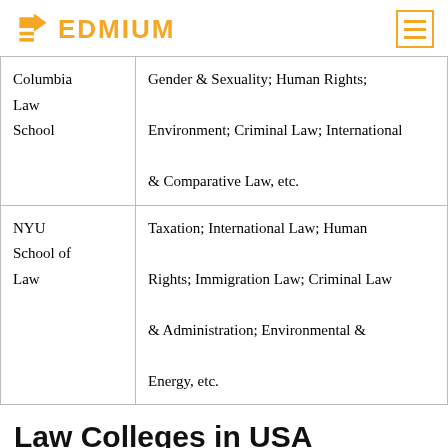EDMIUM
| School | Specializations |
| --- | --- |
| Columbia Law School | Gender & Sexuality; Human Rights; Environment; Criminal Law; International & Comparative Law, etc. |
| NYU School of Law | Taxation; International Law; Human Rights; Immigration Law; Criminal Law & Administration; Environmental & Energy, etc. |
Law Colleges in USA Offering Juris Doctor (J.D.)